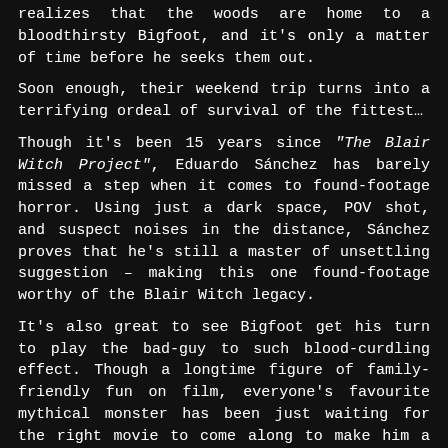realizes that the woods are home to a bloodthirsty Bigfoot, and it's only a matter of time before he seeks them out.
Soon enough, their weekend trip turns into a terrifying ordeal of survival of the fittest…
Though it's been 15 years since "The Blair Witch Project", Eduardo Sánchez has barely missed a step when it comes to found-footage horror. Using just a dark space, POV shot, and suspect noises in the distance, Sánchez proves that he's still a master of unsettling suggestion – making this one found-footage worthy of the Blair Witch legacy.
It's also great to see Bigfoot get his turn to play the bad-guy to such blood-curdling effect. Though a longtime figure of family-friendly fun on film, everyone's favourite mythical monster has been just waiting for the right movie to come along to make him a believable and brutal villain.
With Sánchez at the helm, a cast of promising stars, and a monster of such giant standing, this is a terror-ride of savage suspense not to be missed!